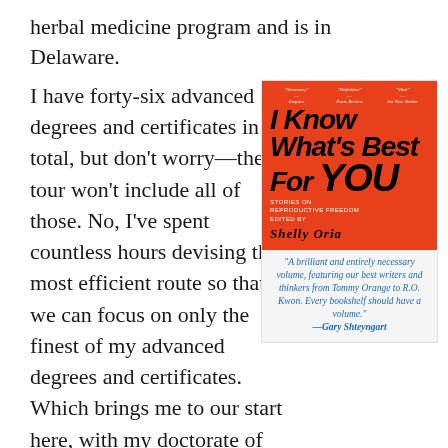herbal medicine program and is in Delaware.
I have forty-six advanced degrees and certificates in total, but don’t worry—the tour won’t include all of those. No, I’ve spent countless hours devising the most efficient route so that we can focus on only the finest of my advanced degrees and certificates. Which brings me to our start here, with my doctorate of Interest Dynamics and Discretion in Tour Planning. In fact, this whole first room is devoted only to tour-related
[Figure (photo): Book cover of 'I Know What's Best For You: Stories on Reproductive Freedom' edited by Shelly Oria. Red cover with bold black handwritten-style title text.]
“A brilliant and entirely necessary volume, featuring our best writers and thinkers from Tommy Orange to R.O. Kwon. Every bookshelf should have a volume.” —Gary Shteyngart